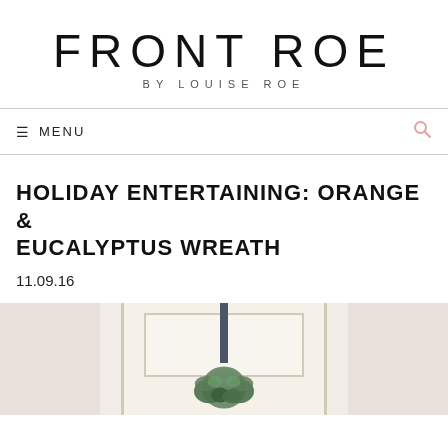FRONT ROE
BY LOUISE ROE
HOLIDAY ENTERTAINING: ORANGE & EUCALYPTUS WREATH
11.09.16
[Figure (photo): Photo of a front door with a eucalyptus wreath hanging on it, viewed from inside/outside. The door is white/cream with panel detail. A dark ribbon hangs from the top. Green eucalyptus foliage is visible at the bottom.]